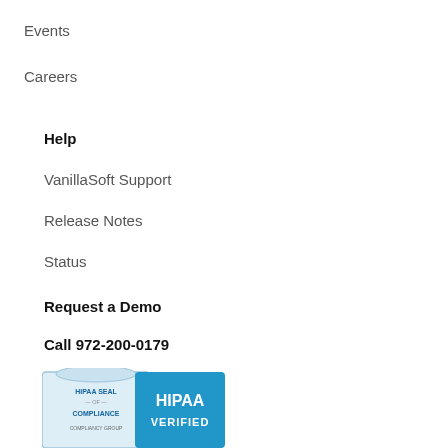Events
Careers
Help
VanillaSoft Support
Release Notes
Status
Request a Demo
Call 972-200-0179
Login
[Figure (logo): HIPAA Seal of Compliance badge with HIPAA VERIFIED label from Compliancy Group]